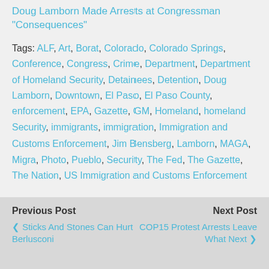Doug Lamborn Made Arrests at Congressman "Consequences"
Tags: ALF, Art, Borat, Colorado, Colorado Springs, Conference, Congress, Crime, Department, Department of Homeland Security, Detainees, Detention, Doug Lamborn, Downtown, El Paso, El Paso County, enforcement, EPA, Gazette, GM, Homeland, homeland Security, immigrants, immigration, Immigration and Customs Enforcement, Jim Bensberg, Lamborn, MAGA, Migra, Photo, Pueblo, Security, The Fed, The Gazette, The Nation, US Immigration and Customs Enforcement
Previous Post | Sticks And Stones Can Hurt Berlusconi | Next Post | COP15 Protest Arrests Leave What Next